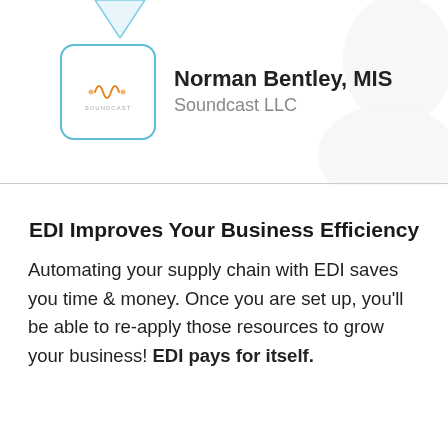[Figure (illustration): Soundcast LLC logo inside a rounded rectangle card with light blue border. Shows a stylized audio waveform icon and 'SOUNDCAST' text below it.]
Norman Bentley, MIS
Soundcast LLC
EDI Improves Your Business Efficiency
Automating your supply chain with EDI saves you time & money. Once you are set up, you'll be able to re-apply those resources to grow your business! EDI pays for itself.